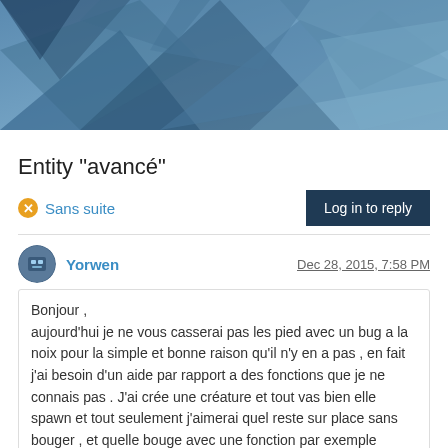[Figure (illustration): Abstract geometric blue polygon banner header image]
Entity "avancé"
Sans suite
Log in to reply
Yorwen
Dec 28, 2015, 7:58 PM
Bonjour ,
aujourd'hui je ne vous casserai pas les pied avec un bug a la noix pour la simple et bonne raison qu'il n'y en a pas , en fait j'ai besoin d'un aide par rapport a des fonctions que je ne connais pas . J'ai crée une créature et tout vas bien elle spawn et tout seulement j'aimerai quel reste sur place sans bouger , et quelle bouge avec une fonction par exemple onHurt(…) { …
this.faireBouger(x,y,z) ;} ou autre , a oui et changer ses bruit